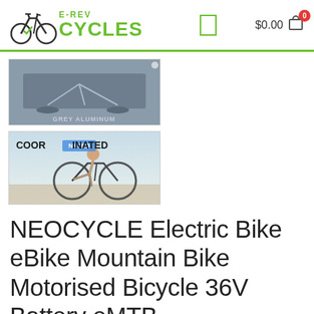E-REV CYCLES — $0.00 cart
[Figure (photo): Product image 1: grey aluminum electric bike component/frame on dark grey background with text 'GREY ALUMINUM']
[Figure (photo): Product image 2: Person riding a mountain bike outdoors with text 'COORDINATED']
NEOCYCLE Electric Bike eBike Mountain Bike Motorised Bicycle 36V Battery eMTB